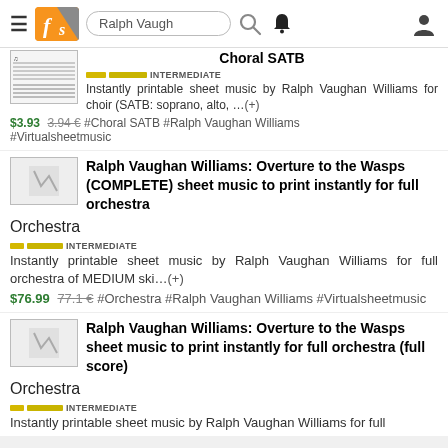Ralph Vaugh — search bar with logo and navigation icons
Choral SATB — INTERMEDIATE — Instantly printable sheet music by Ralph Vaughan Williams for choir (SATB: soprano, alto, … (+) — $3.93  3.94 €  #Choral SATB  #Ralph Vaughan Williams  #Virtualsheetmusic
Ralph Vaughan Williams: Overture to the Wasps (COMPLETE) sheet music to print instantly for full orchestra
Orchestra
INTERMEDIATE — Instantly printable sheet music by Ralph Vaughan Williams for full orchestra of MEDIUM ski…(+) — $76.99  77.1 €  #Orchestra  #Ralph Vaughan Williams  #Virtualsheetmusic
Ralph Vaughan Williams: Overture to the Wasps sheet music to print instantly for full orchestra (full score)
Orchestra
INTERMEDIATE — Instantly printable sheet music by Ralph Vaughan Williams for full